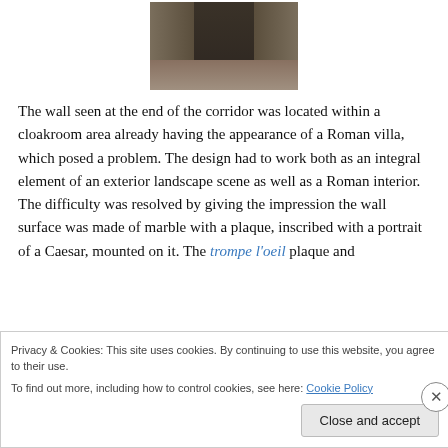[Figure (photo): A corridor/hallway view showing a wall at the end, photographed from the entrance. Dark tones, narrow hallway perspective.]
The wall seen at the end of the corridor was located within a cloakroom area already having the appearance of a Roman villa, which posed a problem. The design had to work both as an integral element of an exterior landscape scene as well as a Roman interior. The difficulty was resolved by giving the impression the wall surface was made of marble with a plaque, inscribed with a portrait of a Caesar, mounted on it. The trompe l’oeil plaque and
Privacy & Cookies: This site uses cookies. By continuing to use this website, you agree to their use.
To find out more, including how to control cookies, see here: Cookie Policy